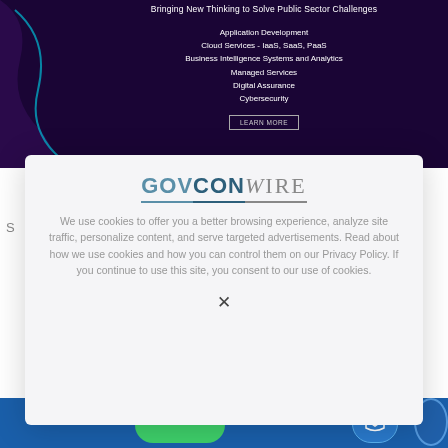[Figure (infographic): Dark purple banner ad with teal curve graphic. Text reads 'Bringing New Thinking to Solve Public Sector Challenges' with list of services: Application Development, Cloud Services - IaaS, SaaS, PaaS, Business Intelligence Systems and Analytics, Managed Services, Digital Assurance, Cybersecurity. LEARN MORE button at bottom.]
[Figure (logo): GovConWire logo — GOVCON in blue/teal bold, WIRE in grey italic serif, with horizontal underline]
We use cookies to offer you a better browsing experience, analyze site traffic, personalize content, and serve targeted advertisements. Read about how we use cookies and how you can control them on our Privacy Policy. If you continue to use this site, you consent to our use of cookies.
X
[Figure (screenshot): Bottom portion of a blue banner/ad, partially visible]